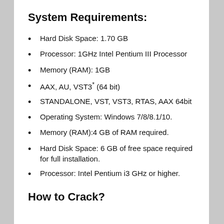System Requirements:
Hard Disk Space: 1.70 GB
Processor: 1GHz Intel Pentium III Processor
Memory (RAM): 1GB
AAX, AU, VST3* (64 bit)
STANDALONE, VST, VST3, RTAS, AAX 64bit
Operating System: Windows 7/8/8.1/10.
Memory (RAM):4 GB of RAM required.
Hard Disk Space: 6 GB of free space required for full installation.
Processor: Intel Pentium i3 GHz or higher.
How to Crack?